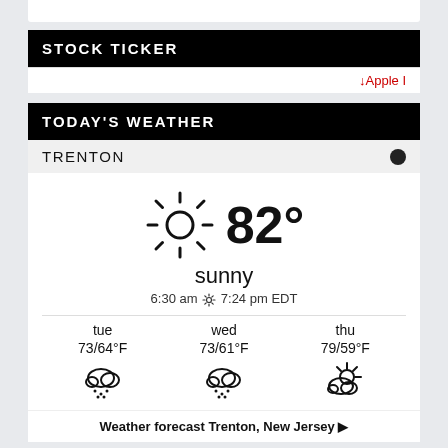STOCK TICKER
↓Apple I
TODAY'S WEATHER
TRENTON
[Figure (infographic): Weather widget showing 82° sunny, sun icon, 6:30 am sunrise 7:24 pm EDT, forecast for tue 73/64°F rain, wed 73/61°F rain, thu 79/59°F partly cloudy]
Weather forecast Trenton, New Jersey ▶